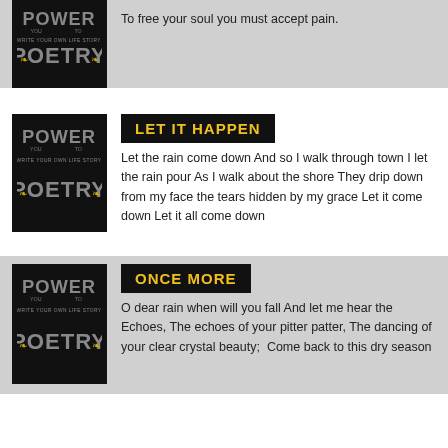[Figure (illustration): Book cover with 'POWER TO POETRY' text on black background]
To free your soul you must accept pain.
[Figure (illustration): Book cover with 'POWER TO POETRY' text on black background]
LET IT HAPPEN
Let the rain come down And so I walk through town I let the rain pour As I walk about the shore They drip down from my face the tears hidden by my grace Let it come down Let it all come down
[Figure (illustration): Book cover with 'POWER TO POETRY' text on black background]
ONCE MORE
O dear rain when will you fall And let me hear the                Echoes, The echoes of your pitter patter, The dancing of your clear crystal beauty;  Come back to this dry season